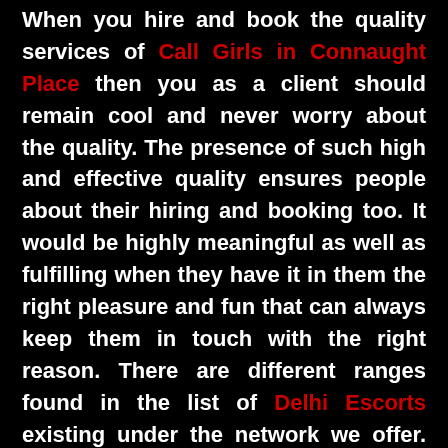When you hire and book the quality services of Call Girls in Connaught Place then you as a client should remain cool and never worry about the quality. The presence of such high and effective quality ensures people about their hiring and booking too. It would be highly meaningful as well as fulfilling when they have it in them the right pleasure and fun that can always keep them in touch with the right reason. There are different ranges found in the list of Delhi Escorts existing under the network we offer. Diversity in unity is what preferred by most of the clients visiting here.
Connaught Place Cheap Escorts Service in Five Star Hotels